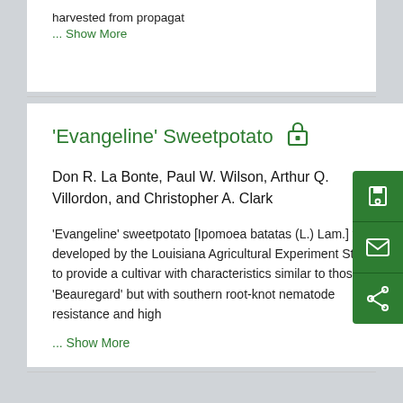harvested from propagat
... Show More
'Evangeline' Sweetpotato
Don R. La Bonte, Paul W. Wilson, Arthur Q. Villordon, and Christopher A. Clark
'Evangeline' sweetpotato [Ipomoea batatas (L.) Lam.] was developed by the Louisiana Agricultural Experiment Station to provide a cultivar with characteristics similar to those of 'Beauregard' but with southern root-knot nematode resistance and high
... Show More